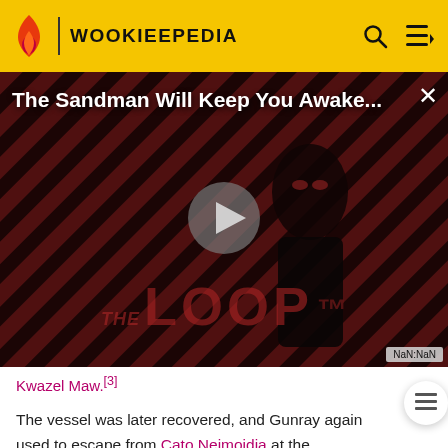WOOKIEEPEDIA
[Figure (screenshot): Video player showing 'The Sandman Will Keep You Awake...' promotional video with a dark-clad figure against a red diagonal striped background and 'THE LOOP' branding overlay. Play button visible in center. NaN:NaN timestamp shown.]
Kwazel Maw.[3]
The vessel was later recovered, and Gunray again used to escape from Cato Neimoidia at the conclusion of the Battle of Cato Neimoidia.[1]